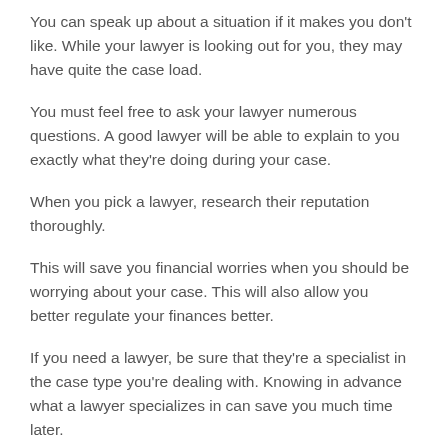You can speak up about a situation if it makes you don't like. While your lawyer is looking out for you, they may have quite the case load.
You must feel free to ask your lawyer numerous questions. A good lawyer will be able to explain to you exactly what they're doing during your case.
When you pick a lawyer, research their reputation thoroughly.
This will save you financial worries when you should be worrying about your case. This will also allow you better regulate your finances better.
If you need a lawyer, be sure that they're a specialist in the case type you're dealing with. Knowing in advance what a lawyer specializes in can save you much time later.